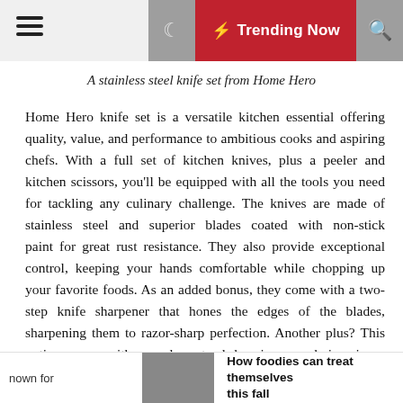☰  ☽  ⚡ Trending Now  🔍
A stainless steel knife set from Home Hero
Home Hero knife set is a versatile kitchen essential offering quality, value, and performance to ambitious cooks and aspiring chefs. With a full set of kitchen knives, plus a peeler and kitchen scissors, you'll be equipped with all the tools you need for tackling any culinary challenge. The knives are made of stainless steel and superior blades coated with non-stick paint for great rust resistance. They also provide exceptional control, keeping your hands comfortable while chopping up your favorite foods. As an added bonus, they come with a two-step knife sharpener that hones the edges of the blades, sharpening them to razor-sharp perfection. Another plus? This option comes with a modern stand, keeping your knives in an upright position and blending well with your kitchen's aesthetics. This set is perfect for anyone
nown for   How foodies can treat themselves this fall